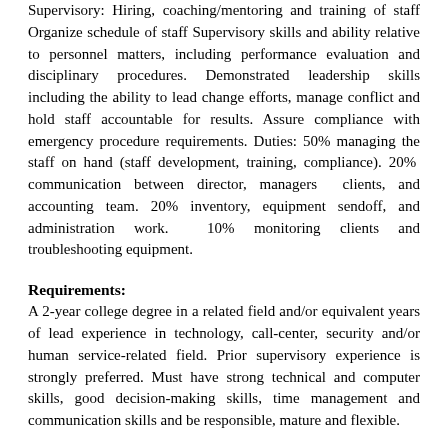Supervisory: Hiring, coaching/mentoring and training of staff Organize schedule of staff Supervisory skills and ability relative to personnel matters, including performance evaluation and disciplinary procedures. Demonstrated leadership skills including the ability to lead change efforts, manage conflict and hold staff accountable for results. Assure compliance with emergency procedure requirements. Duties: 50% managing the staff on hand (staff development, training, compliance). 20%  communication between director, managers  clients, and accounting team. 20% inventory, equipment sendoff, and administration work.  10% monitoring clients and troubleshooting equipment.
Requirements:
A 2-year college degree in a related field and/or equivalent years of lead experience in technology, call-center, security and/or human service-related field. Prior supervisory experience is strongly preferred. Must have strong technical and computer skills, good decision-making skills, time management and communication skills and be responsible, mature and flexible.